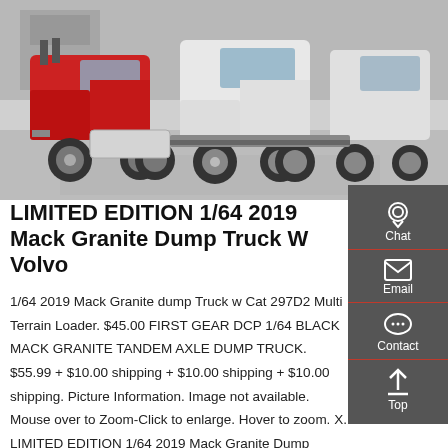[Figure (photo): Photo of trucks including a red truck and white trucks in a parking/yard area. Multiple semi-trucks visible from a low angle showing undercarriage and wheels.]
LIMITED EDITION 1/64 2019 Mack Granite Dump Truck W Volvo
1/64 2019 Mack Granite dump Truck w Cat 297D2 Multi Terrain Loader. $45.00 FIRST GEAR DCP 1/64 BLACK MACK GRANITE TANDEM AXLE DUMP TRUCK. $55.99 + $10.00 shipping + $10.00 shipping + $10.00 shipping. Picture Information. Image not available. Mouse over to Zoom-Click to enlarge. Hover to zoom. X. LIMITED EDITION 1/64 2019 Mack Granite Dump